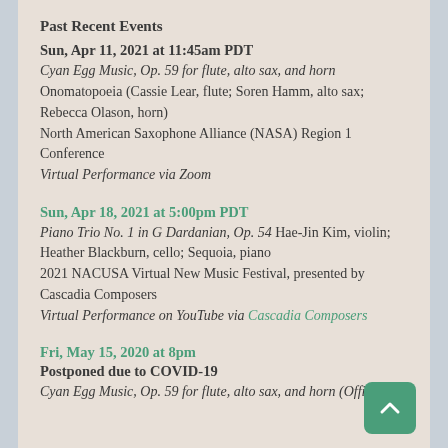Past Recent Events
Sun, Apr 11, 2021 at 11:45am PDT
Cyan Egg Music, Op. 59 for flute, alto sax, and horn Onomatopoeia (Cassie Lear, flute; Soren Hamm, alto sax; Rebecca Olason, horn)
North American Saxophone Alliance (NASA) Region 1 Conference
Virtual Performance via Zoom
Sun, Apr 18, 2021 at 5:00pm PDT
Piano Trio No. 1 in G Dardanian, Op. 54 Hae-Jin Kim, violin; Heather Blackburn, cello; Sequoia, piano
2021 NACUSA Virtual New Music Festival, presented by Cascadia Composers
Virtual Performance on YouTube via Cascadia Composers
Fri, May 15, 2020 at 8pm
Postponed due to COVID-19
Cyan Egg Music, Op. 59 for flute, alto sax, and horn (Official